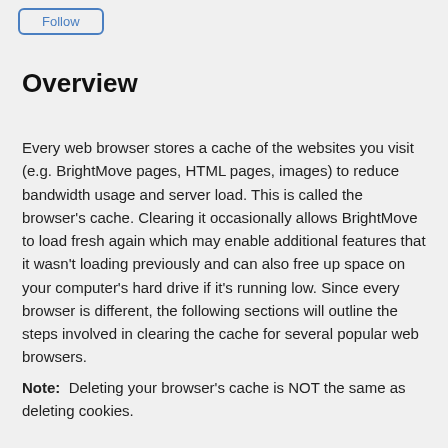Follow
Overview
Every web browser stores a cache of the websites you visit (e.g. BrightMove pages, HTML pages, images) to reduce bandwidth usage and server load. This is called the browser's cache. Clearing it occasionally allows BrightMove to load fresh again which may enable additional features that it wasn't loading previously and can also free up space on your computer's hard drive if it's running low. Since every browser is different, the following sections will outline the steps involved in clearing the cache for several popular web browsers.
Note:  Deleting your browser's cache is NOT the same as deleting cookies.